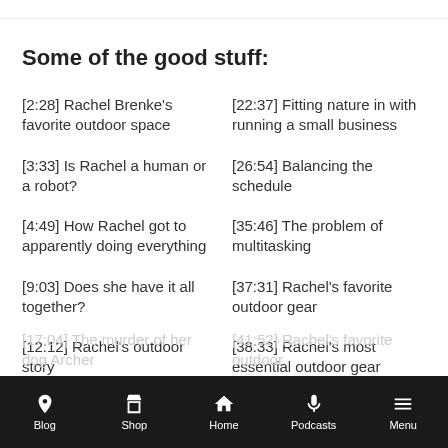Some of the good stuff:
[2:28] Rachel Brenke's favorite outdoor space
[22:37] Fitting nature in with running a small business
[3:33] Is Rachel a human or a robot?
[26:54] Balancing the schedule
[4:49] How Rachel got to apparently doing everything
[35:46] The problem of multitasking
[9:03] Does she have it all together?
[37:31] Rachel's favorite outdoor gear
[12:12] Rachel's outdoor story
[38:33] Rachel's most essential outdoor gear
[17:04] The murder of her dog Archer
[41:52] Rachel's favorite outdoor equipment
Blog  Shop  Home  Podcasts  Menu